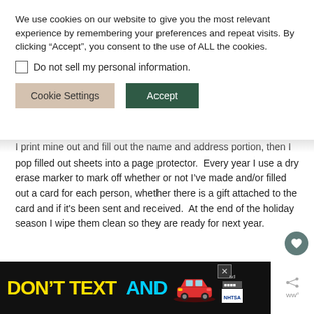We use cookies on our website to give you the most relevant experience by remembering your preferences and repeat visits. By clicking “Accept”, you consent to the use of ALL the cookies.
Do not sell my personal information.
Cookie Settings  Accept
I print mine out and fill out the name and address portion, then I pop filled out sheets into a page protector.  Every year I use a dry erase marker to mark off whether or not I’ve made and/or filled out a card for each person, whether there is a gift attached to the card and if it's been sent and received.  At the end of the holiday season I wipe them clean so they are ready for next year.
[Figure (screenshot): Advertisement banner: DON'T TEXT AND [car image] with ad label and NHTSA logo, with a close button and side share/heart icons.]